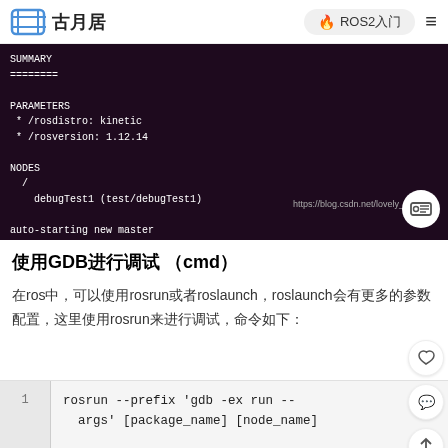古月居 | ROS2入门
[Figure (screenshot): Terminal output showing ROS launch summary with PARAMETERS (/rosdistro: kinetic, /rosversion: 1.12.14), NODES (/ debugTest1 (test/debugTest1)), auto-starting new master, process[master] started with pid [9876], ROS_MASTER_URI=http://localhost:11311, setting /run_id, process[rosout-1] started with pid [9889], started core service [/rosout], process[debugTest1-2] started with pid [9896]. Watermark: https://blog.csdn.net/lovely_]
使用GDB进行调试 （cmd）
在ros中，可以使用rosrun或者roslaunch，roslaunch会有更多的参数配置，这里使用rosrun来进行调试，命令如下：
[Figure (screenshot): Code block showing: rosrun --prefix 'gdb -ex run -- args' [package_name] [node_name]]